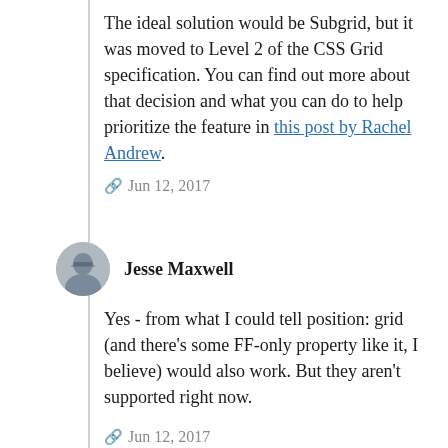The ideal solution would be Subgrid, but it was moved to Level 2 of the CSS Grid specification. You can find out more about that decision and what you can do to help prioritize the feature in this post by Rachel Andrew.
🔗 Jun 12, 2017
[Figure (photo): Circular avatar photo of Jesse Maxwell, a person wearing glasses]
Jesse Maxwell
Yes - from what I could tell position: grid (and there's some FF-only property like it, I believe) would also work. But they aren't supported right now.
🔗 Jun 12, 2017